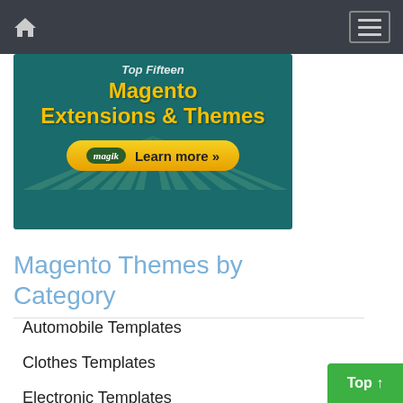Navigation bar with home icon and hamburger menu
[Figure (illustration): Advertisement banner for Magento Extensions & Themes by Magik with a 'Learn more »' button on teal background with sunburst rays]
Magento Themes by Category
Automobile Templates
Clothes Templates
Electronic Templates
Entertainment Templates